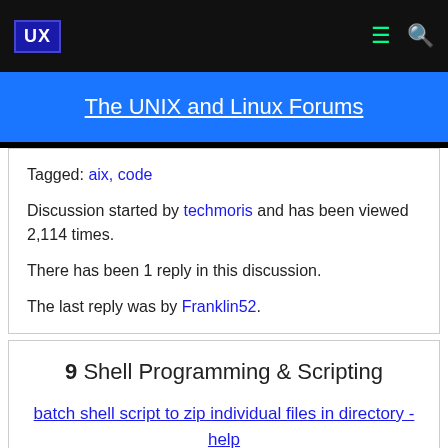UX
The UNIX and Linux Forums
Tagged: aix, code
Discussion started by techmoris and has been viewed 2,114 times.
There has been 1 reply in this discussion.
The last reply was by Franklin52.
9  Shell Programming & Scripting
batch shell script to zip individual files in directory - help
help trying to figure out a batch shell script to